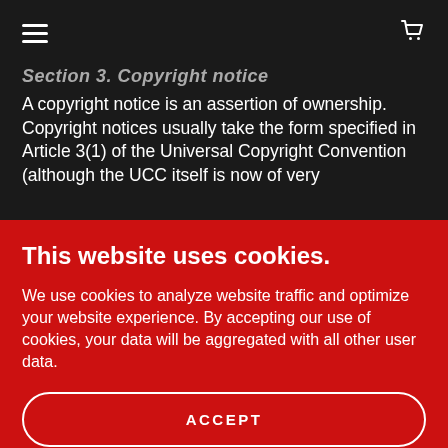☰  🛒
Section 3. Copyright notice
A copyright notice is an assertion of ownership. Copyright notices usually take the form specified in Article 3(1) of the Universal Copyright Convention (although the UCC itself is now of very
This website uses cookies.
We use cookies to analyze website traffic and optimize your website experience. By accepting our use of cookies, your data will be aggregated with all other user data.
ACCEPT